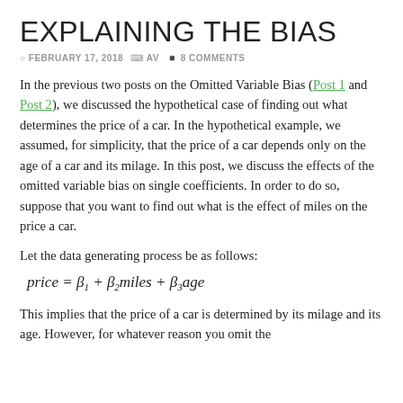EXPLAINING THE BIAS
FEBRUARY 17, 2018  AV  8 COMMENTS
In the previous two posts on the Omitted Variable Bias (Post 1 and Post 2), we discussed the hypothetical case of finding out what determines the price of a car. In the hypothetical example, we assumed, for simplicity, that the price of a car depends only on the age of a car and its milage. In this post, we discuss the effects of the omitted variable bias on single coefficients. In order to do so, suppose that you want to find out what is the effect of miles on the price a car.
Let the data generating process be as follows:
This implies that the price of a car is determined by its milage and its age. However, for whatever reason you omit the